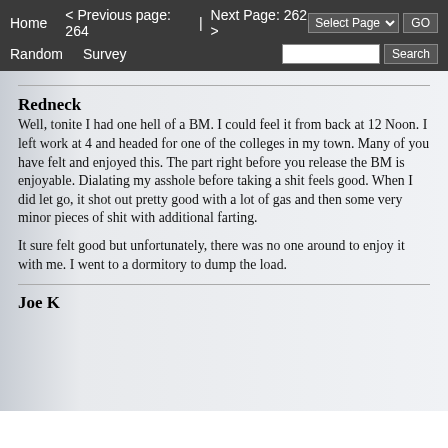Home  < Previous page: 264  |  Next Page: 262 >  Random  Survey  Select Page  GO  Search
Redneck
Well, tonite I had one hell of a BM. I could feel it from back at 12 Noon. I left work at 4 and headed for one of the colleges in my town. Many of you have felt and enjoyed this. The part right before you release the BM is enjoyable. Dialating my asshole before taking a shit feels good. When I did let go, it shot out pretty good with a lot of gas and then some very minor pieces of shit with additional farting.

It sure felt good but unfortunately, there was no one around to enjoy it with me. I went to a dormitory to dump the load.
Joe K